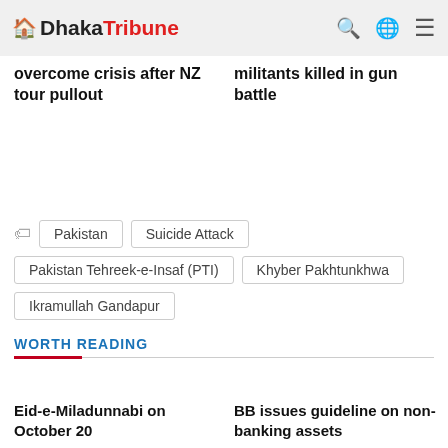Dhaka Tribune (logo with house icon, search, globe, menu icons)
overcome crisis after NZ tour pullout
militants killed in gun battle
Pakistan
Suicide Attack
Pakistan Tehreek-e-Insaf (PTI)
Khyber Pakhtunkhwa
Ikramullah Gandapur
WORTH READING
Eid-e-Miladunnabi on October 20
BB issues guideline on non-banking assets